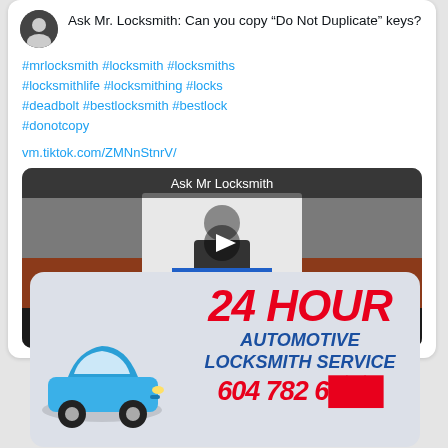Ask Mr. Locksmith: Can you copy "Do Not Duplicate" keys?
#mrlocksmith #locksmith #locksmiths #locksmithlife #locksmithing #locks #deadbolt #bestlocksmith #bestlock #donotcopy
vm.tiktok.com/ZMNnStnrV/
[Figure (screenshot): Video thumbnail showing Ask Mr Locksmith video with a man seated, play button overlay, and caption 'Can you copy "do not duplicate" keys?' with MrLockSmith branding]
[Figure (infographic): Advertisement card: 24 HOUR AUTOMOTIVE LOCKSMITH SERVICE with phone number and a blue car illustration]